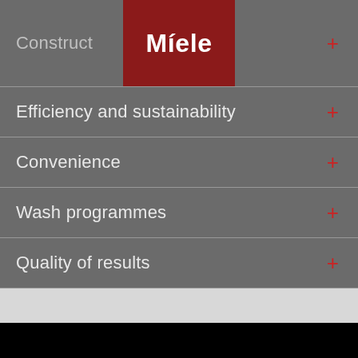[Figure (logo): Miele brand logo, white text on dark red/maroon background]
Construction +
Efficiency and sustainability +
Convenience +
Wash programmes +
Quality of results +